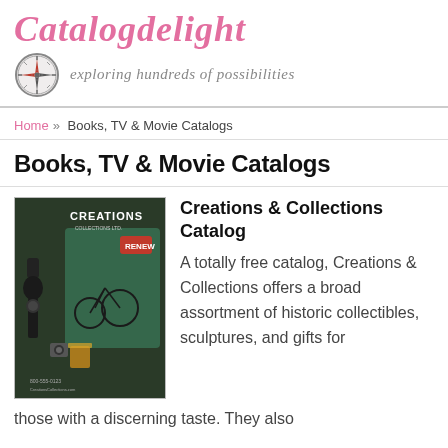Catalogdelight — exploring hundreds of possibilities
Home » Books, TV & Movie Catalogs
Books, TV & Movie Catalogs
[Figure (photo): Catalog cover for Creations & Collections showing vintage telephone, bicycle, and collectibles on dark background]
Creations & Collections Catalog
A totally free catalog, Creations & Collections offers a broad assortment of historic collectibles, sculptures, and gifts for those with a discerning taste. They also